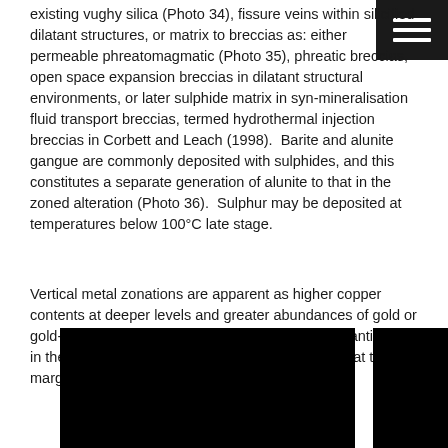existing vughy silica (Photo 34), fissure veins within silicified dilatant structures, or matrix to breccias as: either permeable phreatomagmatic (Photo 35), phreatic breccias, open space expansion breccias in dilatant structural environments, or later sulphide matrix in syn-mineralisation fluid transport breccias, termed hydrothermal injection breccias in Corbett and Leach (1998).  Barite and alunite gangue are commonly deposited with sulphides, and this constitutes a separate generation of alunite to that in the zoned alteration (Photo 36).  Sulphur may be deposited at temperatures below 100°C late stage.
Vertical metal zonations are apparent as higher copper contents at deeper levels and greater abundances of gold or gold-silver along with local mercury, tellurium and antimony, in the upper portions of poorly eroded systems, or at the margins (Corbett and Leach, 1998).
[Figure (photo): Two photographs shown side by side at the bottom of the page, both largely black/dark.]